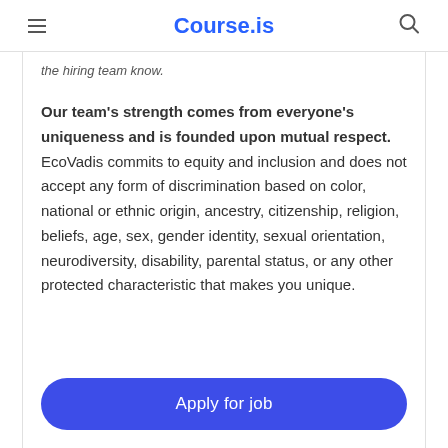Course.is
the hiring team know.
Our team's strength comes from everyone's uniqueness and is founded upon mutual respect. EcoVadis commits to equity and inclusion and does not accept any form of discrimination based on color, national or ethnic origin, ancestry, citizenship, religion, beliefs, age, sex, gender identity, sexual orientation, neurodiversity, disability, parental status, or any other protected characteristic that makes you unique.
Apply for job